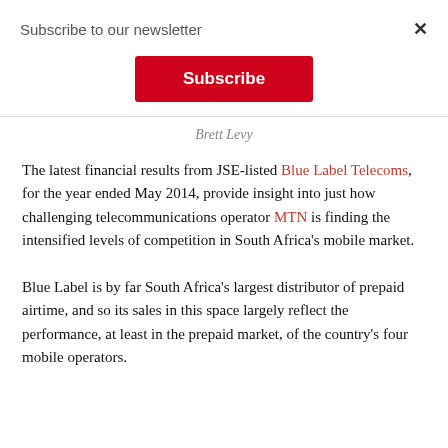Subscribe to our newsletter
Subscribe
Brett Levy
The latest financial results from JSE-listed Blue Label Telecoms, for the year ended May 2014, provide insight into just how challenging telecommunications operator MTN is finding the intensified levels of competition in South Africa's mobile market.
Blue Label is by far South Africa's largest distributor of prepaid airtime, and so its sales in this space largely reflect the performance, at least in the prepaid market, of the country's four mobile operators.